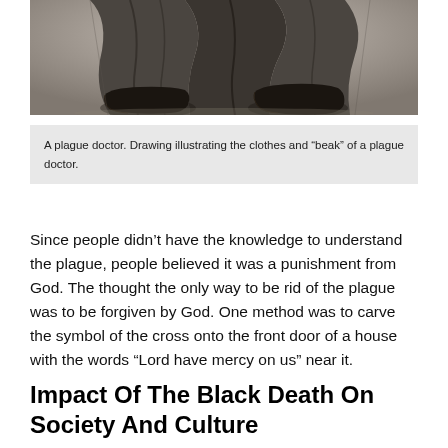[Figure (photo): Bottom portion of a plague doctor figure showing dark robes/skirts and black shoes, black and white historical drawing.]
A plague doctor. Drawing illustrating the clothes and “beak” of a plague doctor.
Since people didn’t have the knowledge to understand the plague, people believed it was a punishment from God. The thought the only way to be rid of the plague was to be forgiven by God. One method was to carve the symbol of the cross onto the front door of a house with the words “Lord have mercy on us” near it.
Impact Of The Black Death On Society And Culture